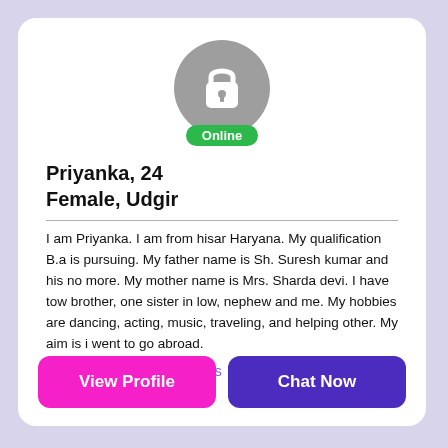[Figure (illustration): Circular grey avatar with white padlock icon and green Online badge below]
Priyanka, 24
Female, Udgir
I am Priyanka. I am from hisar Haryana. My qualification B.a is pursuing. My father name is Sh. Suresh kumar and his no more. My mother name is Mrs. Sharda devi. I have tow brother, one sister in low, nephew and me. My hobbies are dancing, acting, music, traveling, and helping other. My aim is i went to go abroad.
Single Girl Seeking Friends
View Profile
Chat Now